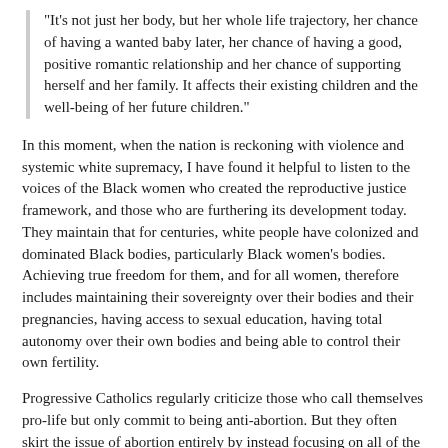"It's not just her body, but her whole life trajectory, her chance of having a wanted baby later, her chance of having a good, positive romantic relationship and her chance of supporting herself and her family. It affects their existing children and the well-being of her future children."
In this moment, when the nation is reckoning with violence and systemic white supremacy, I have found it helpful to listen to the voices of the Black women who created the reproductive justice framework, and those who are furthering its development today. They maintain that for centuries, white people have colonized and dominated Black bodies, particularly Black women's bodies. Achieving true freedom for them, and for all women, therefore includes maintaining their sovereignty over their bodies and their pregnancies, having access to sexual education, having total autonomy over their own bodies and being able to control their own fertility.
Progressive Catholics regularly criticize those who call themselves pro-life but only commit to being anti-abortion. But they often skirt the issue of abortion entirely by instead focusing on all of the other justice issues that need to be upheld as part of a consistent ethic of life.